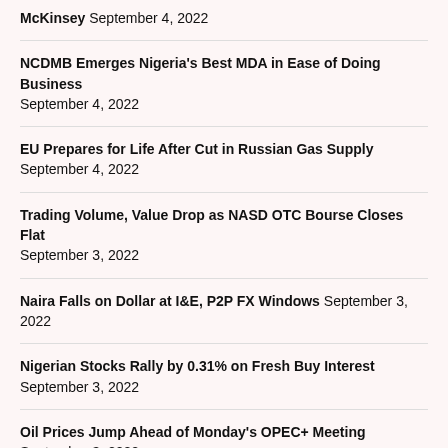McKinsey September 4, 2022
NCDMB Emerges Nigeria's Best MDA in Ease of Doing Business September 4, 2022
EU Prepares for Life After Cut in Russian Gas Supply September 4, 2022
Trading Volume, Value Drop as NASD OTC Bourse Closes Flat September 3, 2022
Naira Falls on Dollar at I&E, P2P FX Windows September 3, 2022
Nigerian Stocks Rally by 0.31% on Fresh Buy Interest September 3, 2022
Oil Prices Jump Ahead of Monday's OPEC+ Meeting September 3, 2022